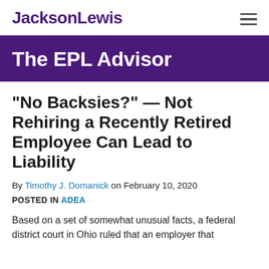JacksonLewis
The EPL Advisor
“No Backsies?” — Not Rehiring a Recently Retired Employee Can Lead to Liability
By Timothy J. Domanick on February 10, 2020
POSTED IN ADEA
Based on a set of somewhat unusual facts, a federal district court in Ohio ruled that an employer that